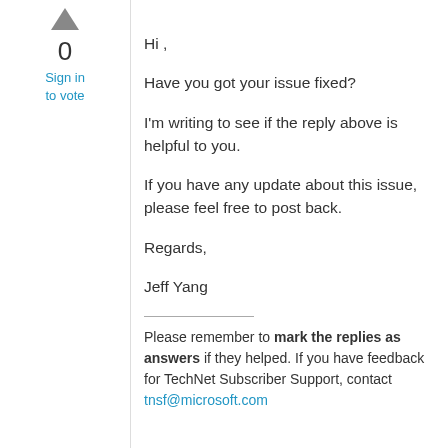[Figure (other): Upward pointing triangle vote button]
0
Sign in to vote
Hi ,
Have you got your issue fixed?
I'm writing to see if the reply above is helpful to you.
If you have any update about this issue, please feel free to post back.
Regards,
Jeff Yang
Please remember to mark the replies as answers if they helped. If you have feedback for TechNet Subscriber Support, contact tnsf@microsoft.com